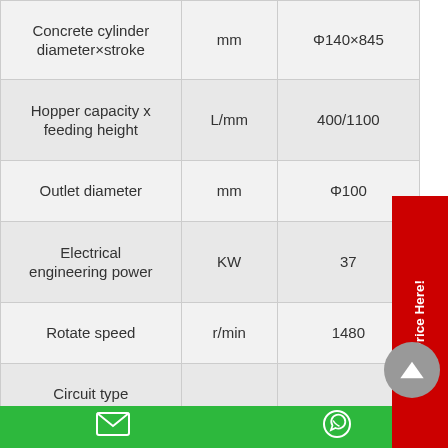| Parameter | Unit | Value |
| --- | --- | --- |
| Concrete cylinder diameter×stroke | mm | Φ140×845 |
| Hopper capacity x feeding height | L/mm | 400/1100 |
| Outlet diameter | mm | Φ100 |
| Electrical engineering power | KW | 37 |
| Rotate speed | r/min | 1480 |
| Circuit type |  |  |
| Pumping system pressure | MPa | 18 |
| Mixing system | MPa | 6-8 |